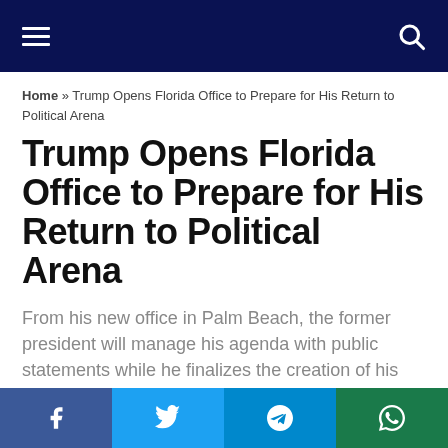Navigation bar with hamburger menu and search icon
Home » Trump Opens Florida Office to Prepare for His Return to Political Arena
Trump Opens Florida Office to Prepare for His Return to Political Arena
From his new office in Palm Beach, the former president will manage his agenda with public statements while he finalizes the creation of his political party.
by Oriana Rivas — January 27, 2021